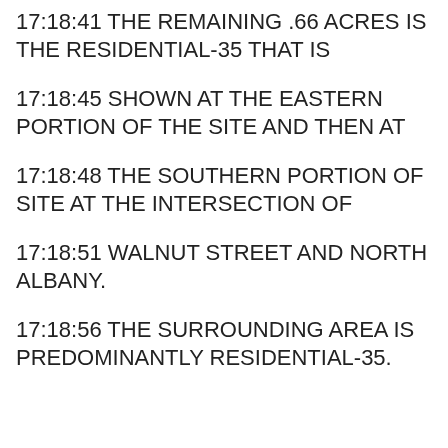17:18:41 THE REMAINING .66 ACRES IS THE RESIDENTIAL-35 THAT IS
17:18:45 SHOWN AT THE EASTERN PORTION OF THE SITE AND THEN AT
17:18:48 THE SOUTHERN PORTION OF SITE AT THE INTERSECTION OF
17:18:51 WALNUT STREET AND NORTH ALBANY.
17:18:56 THE SURROUNDING AREA IS PREDOMINANTLY RESIDENTIAL-35.